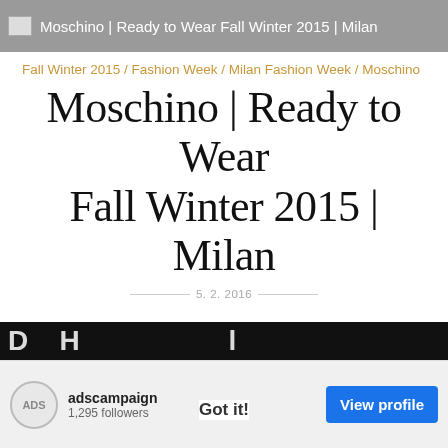Moschino | Ready to Wear Fall Winter 2015 | Milan
Fall Winter 2015 / Fashion Week / Milan Fashion Week / Moschino
Moschino | Ready to Wear Fall Winter 2015 | Milan
5. 2. 2016
Zima bude v podání Moschino barevná, leská, prostě zábavná...
This website uses cookies to ensure you get the best experience on our website.
Learn more
adscampaign
1,295 followers
Got it!
View profile